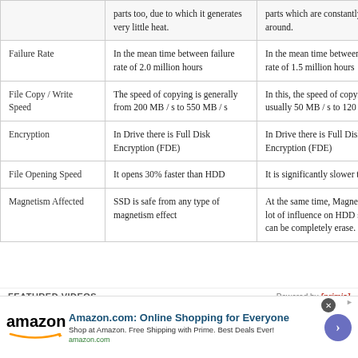|  | SSD | HDD |
| --- | --- | --- |
|  | parts too, due to which it generates very little heat. | parts which are constantly moving around. |
| Failure Rate | In the mean time between failure rate of 2.0 million hours | In the mean time between failure rate of 1.5 million hours |
| File Copy / Write Speed | The speed of copying is generally from 200 MB / s to 550 MB / s | In this, the speed of copying is usually 50 MB / s to 120 MB / s |
| Encryption | In Drive there is Full Disk Encryption (FDE) | In Drive there is Full Disk Encryption (FDE) |
| File Opening Speed | It opens 30% faster than HDD | It is significantly slower than SSD |
| Magnetism Affected | SSD is safe from any type of magnetism effect | At the same time, Magnets have a lot of influence on HDD so that data can be completely erase. |
FEATURED VIDEOS
[Figure (screenshot): Video thumbnail showing dark background with a light blue triangular shape on left and text on right]
[Figure (infographic): Amazon advertisement banner with logo, headline 'Amazon.com: Online Shopping for Everyone', subtitle, and circular play button]